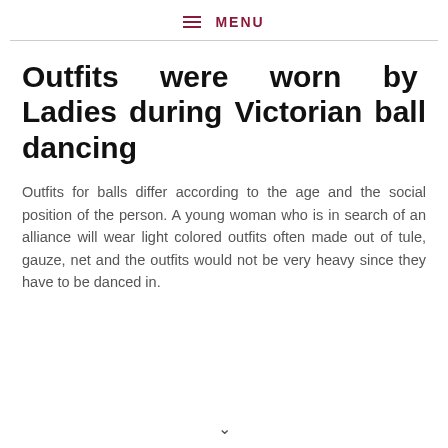≡ MENU
Outfits were worn by Ladies during Victorian ball dancing
Outfits for balls differ according to the age and the social position of the person. A young woman who is in search of an alliance will wear light colored outfits often made out of tule, gauze, net and the outfits would not be very heavy since they have to be danced in.